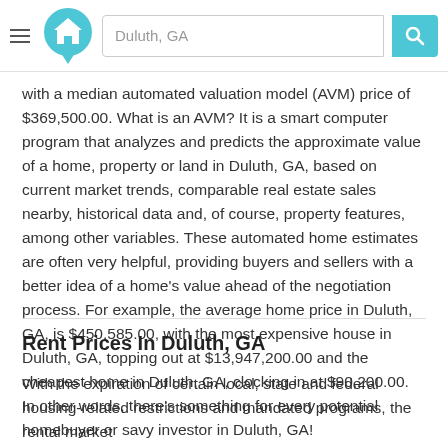[Figure (logo): Home.com or similar real estate website logo — teal house icon with search bar showing 'Duluth, GA' and teal search button, with hamburger menu icon to the left]
with a median automated valuation model (AVM) price of $369,500.00. What is an AVM? It is a smart computer program that analyzes and predicts the approximate value of a home, property or land in Duluth, GA, based on current market trends, comparable real estate sales nearby, historical data and, of course, property features, among other variables. These automated home estimates are often very helpful, providing buyers and sellers with a better idea of a home’s value ahead of the negotiation process. For example, the average home price in Duluth, GA, is $450,585.00, with the most expensive house in Duluth, GA, topping out at $13,947,200.00 and the cheapest home in Duluth, GA, clocking in at $90,200.00. In other words, there’s something for every potential homebuyer or savy investor in Duluth, GA!
Rent Prices In Duluth, GA
With the expiration of certain local, state and federal housing-related restrictions and mandated programs, the rental market